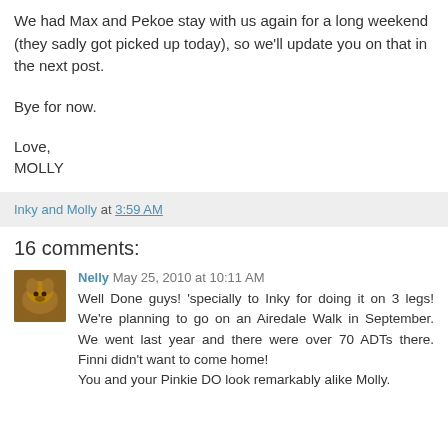We had Max and Pekoe stay with us again for a long weekend (they sadly got picked up today), so we'll update you on that in the next post.
Bye for now.
Love,
MOLLY
Inky and Molly at 3:59 AM
16 comments:
Nelly May 25, 2010 at 10:11 AM
Well Done guys! 'specially to Inky for doing it on 3 legs! We're planning to go on an Airedale Walk in September. We went last year and there were over 70 ADTs there. Finni didn't want to come home!
You and your Pinkie DO look remarkably alike Molly.